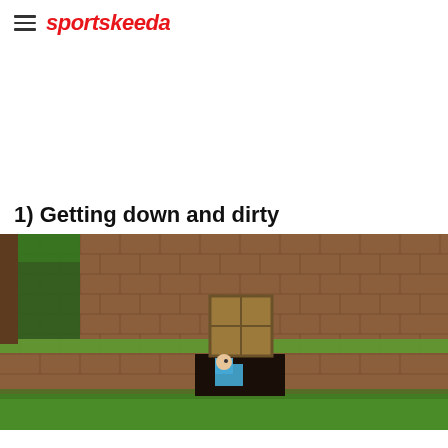sportskeeda
[Figure (other): White advertisement space placeholder]
1) Getting down and dirty
[Figure (photo): Minecraft screenshot showing a player character crawling through a small opening in a dirt block wall with a wooden door above it, surrounded by grass and trees]